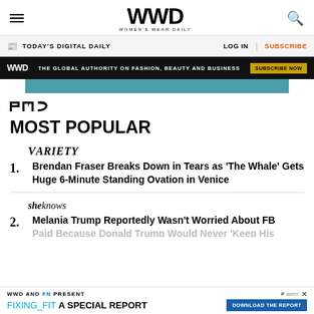WWD — Women's Wear Daily
TODAY'S DIGITAL DAILY | LOG IN | SUBSCRIBE
WWD — THE GLOBAL AUTHORITY ON FASHION, BEAUTY AND BUSINESS — SUBSCRIBE NOW
[Figure (logo): PMC logo]
MOST POPULAR
[Figure (logo): Variety logo]
1. Brendan Fraser Breaks Down in Tears as 'The Whale' Gets Huge 6-Minute Standing Ovation in Venice
[Figure (logo): SheKnows logo]
2. Melania Trump Reportedly Wasn't Worried About FB... Paid Because Donald Trump Would Never 'Keep His...
WWD AND FN PRESENT — FIXING_FIT A SPECIAL REPORT — DOWNLOAD THE REPORT